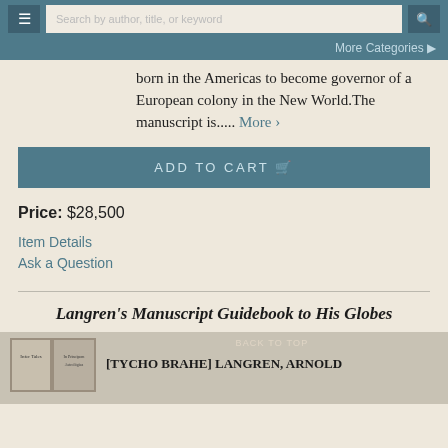Search by author, title, or keyword | More Categories
born in the Americas to become governor of a European colony in the New World.The manuscript is..... More >
ADD TO CART
Price: $28,500
Item Details
Ask a Question
Langren's Manuscript Guidebook to His Globes
BACK TO TOP
[TYCHO BRAHE] LANGREN, ARNOLD